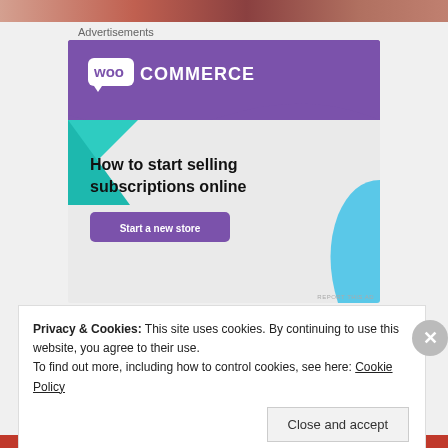[Figure (screenshot): Top partial image strip showing a person, cropped at top of page]
Advertisements
[Figure (illustration): WooCommerce advertisement banner. Purple top section with WooCommerce logo, green triangle shape on left, light gray lower section with blue curved shape on right. Text reads 'How to start selling subscriptions online' with a purple 'Start a new store' button. 'REPORT THIS AD' text at bottom right.]
Privacy & Cookies: This site uses cookies. By continuing to use this website, you agree to their use.
To find out more, including how to control cookies, see here: Cookie Policy
Close and accept